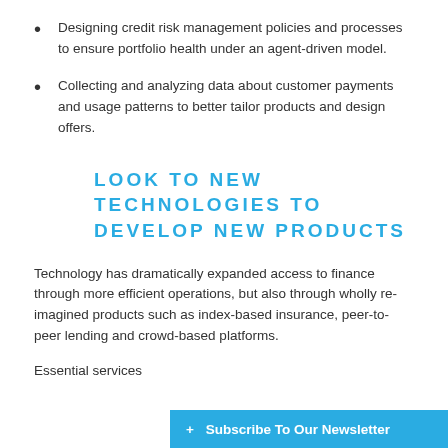Designing credit risk management policies and processes to ensure portfolio health under an agent-driven model.
Collecting and analyzing data about customer payments and usage patterns to better tailor products and design offers.
LOOK TO NEW TECHNOLOGIES TO DEVELOP NEW PRODUCTS
Technology has dramatically expanded access to finance through more efficient operations, but also through wholly re-imagined products such as index-based insurance, peer-to-peer lending and crowd-based platforms.
Essential services
+ Subscribe To Our Newsletter